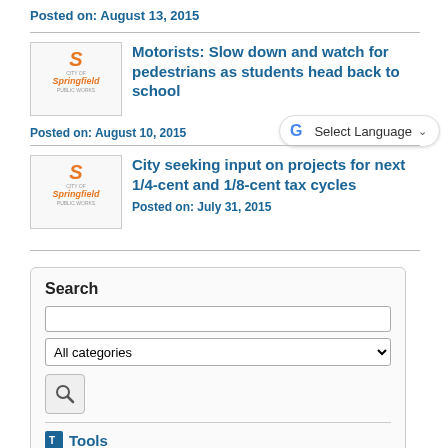Posted on: August 13, 2015
Motorists: Slow down and watch for pedestrians as students head back to school
Posted on: August 10, 2015
City seeking input on projects for next 1/4-cent and 1/8-cent tax cycles
Posted on: July 31, 2015
Search
Tools
RSS